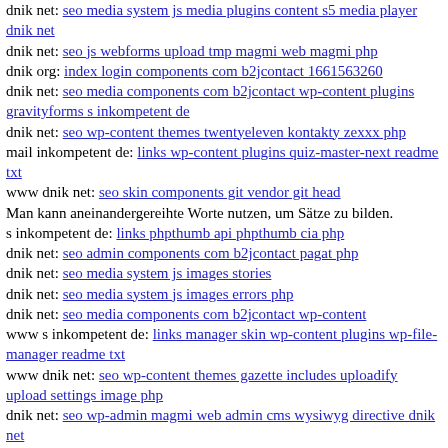dnik net: seo media system js media plugins content s5 media player dnik net
dnik net: seo js webforms upload tmp magmi web magmi php
dnik org: index login components com b2jcontact 1661563260
dnik net: seo media components com b2jcontact wp-content plugins gravityforms s inkompetent de
dnik net: seo wp-content themes twentyeleven kontakty zexxx php
mail inkompetent de: links wp-content plugins quiz-master-next readme txt
www dnik net: seo skin components git vendor git head
Man kann aneinandergereihte Worte nutzen, um Sätze zu bilden.
s inkompetent de: links phpthumb api phpthumb cia php
dnik net: seo admin components com b2jcontact pagat php
dnik net: seo media system js images stories
dnik net: seo media system js images errors php
dnik net: seo media components com b2jcontact wp-content
www s inkompetent de: links manager skin wp-content plugins wp-file-manager readme txt
www dnik net: seo wp-content themes gazette includes uploadify upload settings image php
dnik net: seo wp-admin magmi web admin cms wysiwyg directive dnik net
dnik net: seo wp-content themes twentyfourteen images stories food php
dnik net: seo wp-content themes twentyeleven archiver